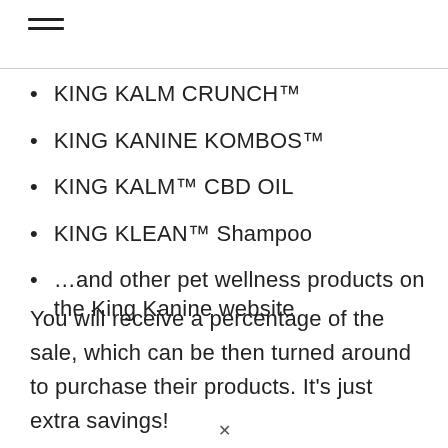KING KALM CRUNCH™
KING KANINE KOMBOS™
KING KALM™ CBD OIL
KING KLEAN™ Shampoo
…and other pet wellness products on the King Kanine website
You will receive a percentage of the sale, which can be then turned around to purchase their products. It's just extra savings!